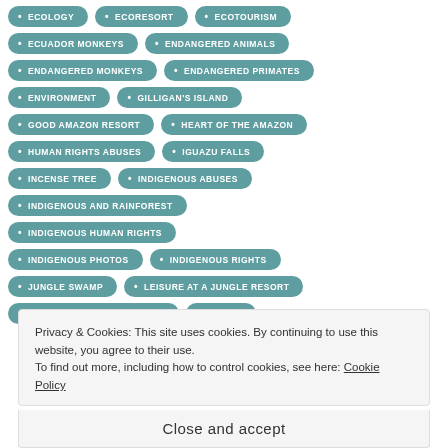ECOLOGY · ECORESORT · ECOTOURISM
ECUADOR MONKEYS · ENDANGERED ANIMALS
ENDANGERED MONKEYS · ENDANGERED PRIMATES
ENVIRONMENT · GILLIGAN'S ISLAND
GOOD AMAZON RESORT · HEART OF THE AMAZON
HUMAN RIGHTS ABUSES · IGUAZU FALLS
INCENSE TREE · INDIGENOUS ABUSES
INDIGENOUS AND RAINFOREST
INDIGENOUS HUMAN RIGHTS
INDIGENOUS PHOTOS · INDIGENOUS RIGHTS
JUNGLE SWAMP · LEISURE AT A JUNGLE RESORT
LEISURE IN THE RAINFOREST · MACAW
Privacy & Cookies: This site uses cookies. By continuing to use this website, you agree to their use.
To find out more, including how to control cookies, see here: Cookie Policy
Close and accept